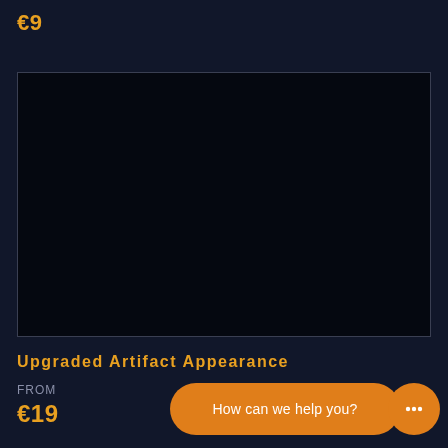€9
[Figure (other): Large dark/black image placeholder rectangle with thin gray border]
Upgraded Artifact Appearance
FROM
€19
How can we help you?